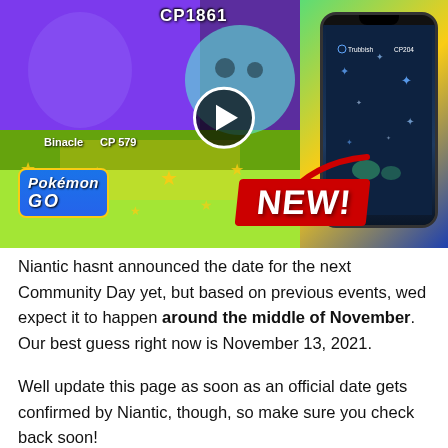[Figure (screenshot): Pokemon GO YouTube thumbnail showing Binacle (CP 579), a blue blob Pokemon (CP 1861), and a phone screen showing Trubbish (CP 204). Large red 'NEW!' banner with arrow. Pokemon GO logo visible. Play button in center.]
Niantic hasnt announced the date for the next Community Day yet, but based on previous events, wed expect it to happen around the middle of November. Our best guess right now is November 13, 2021.
Well update this page as soon as an official date gets confirmed by Niantic, though, so make sure you check back soon!